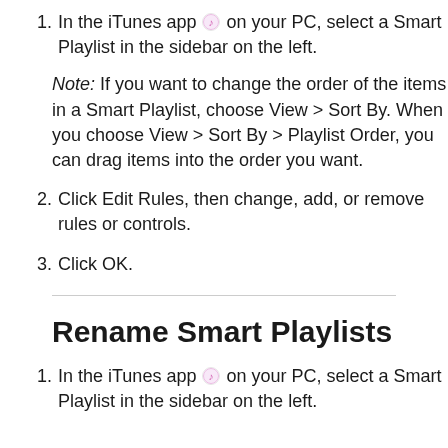In the iTunes app on your PC, select a Smart Playlist in the sidebar on the left.
Note: If you want to change the order of the items in a Smart Playlist, choose View > Sort By. When you choose View > Sort By > Playlist Order, you can drag items into the order you want.
Click Edit Rules, then change, add, or remove rules or controls.
Click OK.
Rename Smart Playlists
In the iTunes app on your PC, select a Smart Playlist in the sidebar on the left.